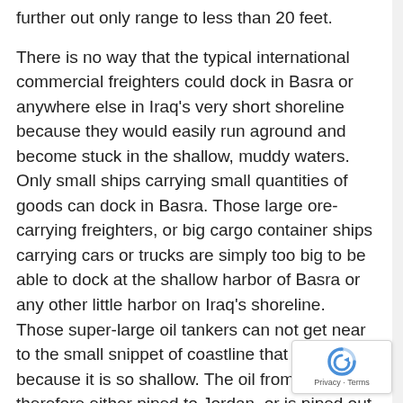further out only range to less than 20 feet.

There is no way that the typical international commercial freighters could dock in Basra or anywhere else in Iraq's very short shoreline because they would easily run aground and become stuck in the shallow, muddy waters. Only small ships carrying small quantities of goods can dock in Basra. Those large ore-carrying freighters, or big cargo container ships carrying cars or trucks are simply too big to be able to dock at the shallow harbor of Basra or any other little harbor on Iraq's shoreline. Those super-large oil tankers can not get near to the small snippet of coastline that Iraq has because it is so shallow. The oil from Iraq is therefore either piped to Jordan, or is piped out for miles into the Persian Gulf into the deeper waters where these oil tankers won't run aground.